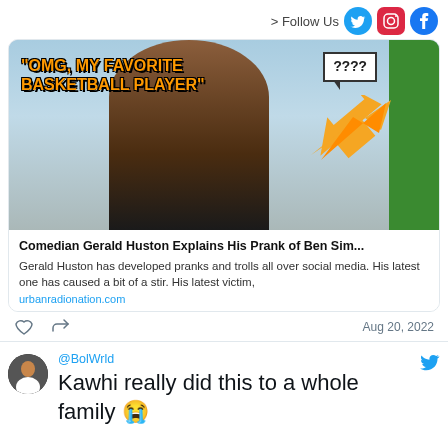[Figure (screenshot): Social media screenshot showing a Twitter/X feed with a tweet containing a video thumbnail of a comedian prank video, and a reply tweet from @BolWrld]
> Follow Us
[Figure (photo): Video thumbnail showing a person in a store with text 'OMG, MY FAVORITE BASKETBALL PLAYER' and a speech bubble with '????']
Comedian Gerald Huston Explains His Prank of Ben Sim...
Gerald Huston has developed pranks and trolls all over social media. His latest one has caused a bit of a stir. His latest victim,
urbanradionation.com
Aug 20, 2022
@BolWrld
Kawhi really did this to a whole family 😭